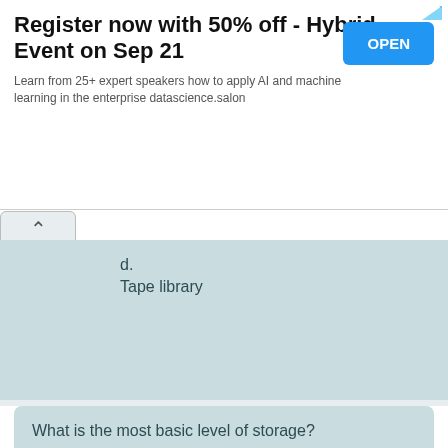[Figure (other): Advertisement banner: Register now with 50% off - Hybrid Event on Sep 21. Learn from 25+ expert speakers how to apply AI and machine learning in the enterprise datascience.salon. OPEN button.]
d. Tape library
What is the most basic level of storage?
Select one:
a. ISCSI
b. DAS
c. SAN